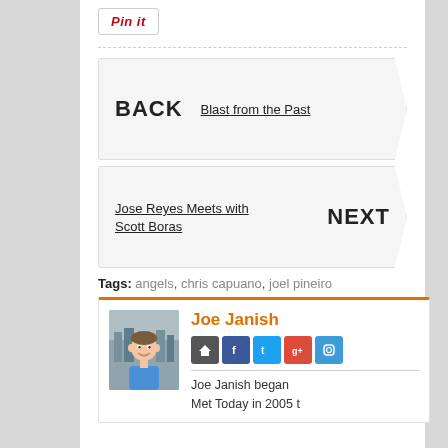[Figure (other): Pin it button - social sharing button with red italic text]
BACK | Blast from the Past - navigation box pointing right
Jose Reyes Meets with Scott Boras | NEXT - navigation box pointing right
Tags: angels, chris capuano, joel pineiro
[Figure (other): Author profile box with photo of Joe Janish, social icons (home, facebook, twitter, google+, instagram), and bio beginning: Joe Janish began Met Today in 2005 t...]